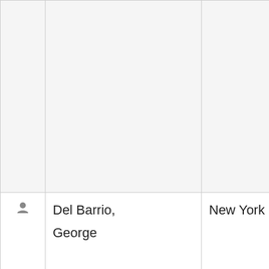|  | Name | City | State | Topics | Types |
| --- | --- | --- | --- | --- | --- |
|  |  |  |  | Health And Wellness, History, Literature, Music, Poetry, Politics and Government, Science Fiction, Travel | Wri... Edit... Pho... Pro... Pub... Soc... Wri... |
| person | Del Barrio, George | New York | NY | Environment, Health And Wellness, History, Investigative Reporting, Labor / Workers | Cop... Cop... Jou... Pho... Pro... Pro... We... We... |